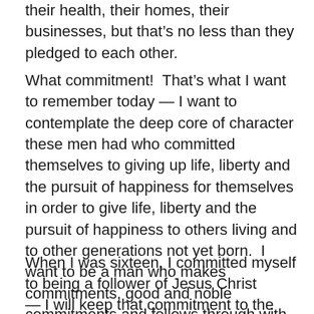their health, their homes, their businesses, but that's no less than they pledged to each other.
What commitment!  That's what I want to remember today — I want to contemplate the deep core of character these men had who committed themselves to giving up life, liberty and the pursuit of happiness for themselves in order to give life, liberty and the pursuit of happiness to others living and to other generations not yet born.  I want to be a man who makes commitments, good and noble commitments and follows through with them even when the cost was more than I imagined when I made the commitment.
When I was sixteen, I committed myself to being a follower of Jesus Christ
— I will keep that commitment to the day I die.  When I